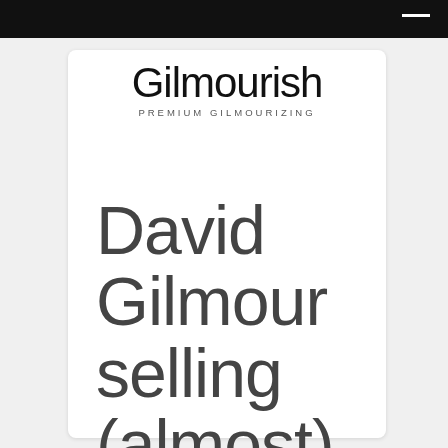Gilmourish PREMIUM GILMOURIZING
David Gilmour selling (almost)